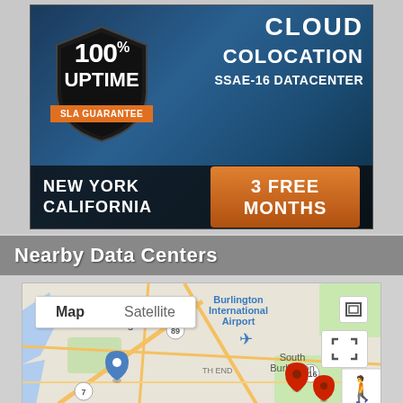[Figure (infographic): Cloud colocation data center advertisement banner. Features a shield logo with '100% UPTIME SLA GUARANTEE', 'CLOUD COLOCATION', 'SSAE-16 DATACENTER', 'NEW YORK CALIFORNIA', and '3 FREE MONTHS' orange button.]
Nearby Data Centers
[Figure (map): Google Map showing Burlington, Vermont area with Map/Satellite toggle buttons. Shows Burlington International Airport, South Burlington, and several map pins (blue and red markers) for nearby data centers.]